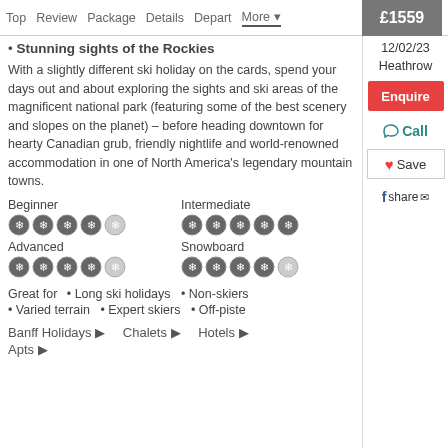Top  Review  Package  Details  Depart  More ▼  £1559
• Stunning sights of the Rockies
With a slightly different ski holiday on the cards, spend your days out and about exploring the sights and ski areas of the magnificent national park (featuring some of the best scenery and slopes on the planet) – before heading downtown for hearty Canadian grub, friendly nightlife and world-renowned accommodation in one of North America's legendary mountain towns.
Beginner [4/5 snowflakes] Intermediate [5/5 snowflakes] Advanced [4/5 snowflakes] Snowboard [4/5 snowflakes]
Great for  • Long ski holidays  • Non-skiers  • Varied terrain  • Expert skiers  • Off-piste
Banff Holidays ► Chalets ► Hotels ► Apts ►
12/02/23 Heathrow
Enquire
Call
Save
share